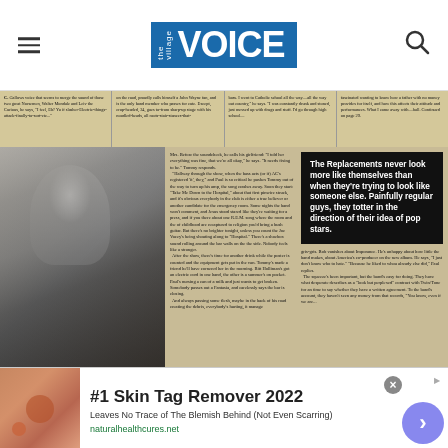The Village Voice
[Figure (photo): Scanned newspaper strip with multiple columns of text about music]
[Figure (photo): Black and white photo of a person with spiky hair, arms crossed, alongside newspaper article text and pull quote: 'The Replacements never look more like themselves than when they're trying to look like someone else. Painfully regular guys, they totter in the direction of their idea of pop stars.']
[Figure (advertisement): Ad for #1 Skin Tag Remover 2022, naturalhealthcures.net]